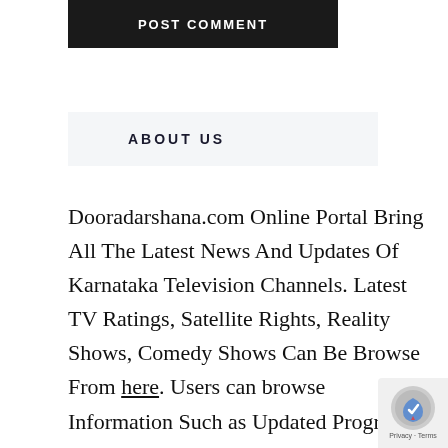[Figure (screenshot): Dark/black button area at top with text 'POST COMMENT' in white bold uppercase letters]
ABOUT US
Dooradarshana.com Online Portal Bring All The Latest News And Updates Of Karnataka Television Channels. Latest TV Ratings, Satellite Rights, Reality Shows, Comedy Shows Can Be Browse From here. Users can browse Information Such as Updated Program Timing, Serial Cast and Crew, OTT Release Dates,